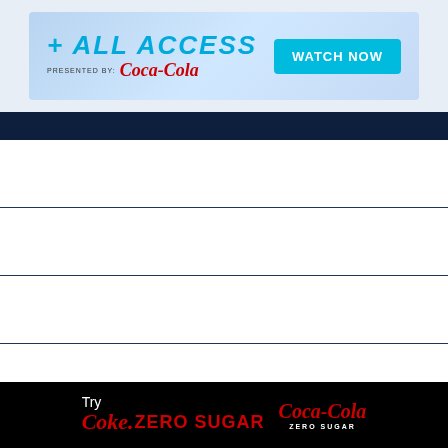[Figure (screenshot): NCAA All Access banner ad presented by Coca-Cola with a Watch Now button on a light blue background]
FEATURED SECTIONS +
EXPERIENCE IT LIVE +
NCAA CHAMPIONSHIPS +
ABOUT THE NCAA +
[Figure (logo): Try Coke Zero Sugar | Coca-Cola Zero Sugar logo on black background]